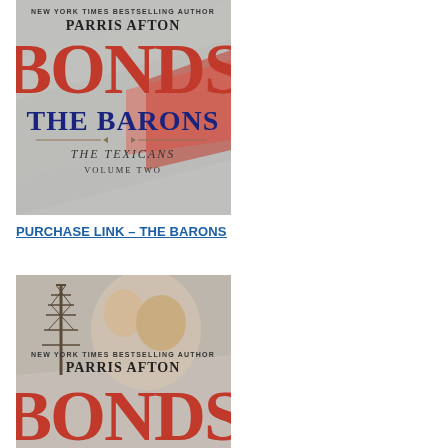[Figure (illustration): Book cover: Parris Afton Bonds – THE BARONS, The Texicans Volume Two. Large red bold text 'BONDS' at top, with 'NEW YORK TIMES BESTSELLING AUTHOR' above author name 'PARRIS AFTON', and 'THE BARONS' subtitle in dark blue, 'THE TEXICANS VOLUME TWO' beneath. Background shows grey/white abstract shapes.]
PURCHASE LINK – THE BARONS
[Figure (illustration): Book cover: Parris Afton Bonds – partially visible. Shows a romantic couple, a woman with blonde hair and a man, with an oil derrick/Eiffel Tower in background. 'NEW YORK TIMES BESTSELLING AUTHOR' at top, 'PARRIS AFTON' and 'BONDS' in red large letters visible at bottom. Background has American flag motif.]